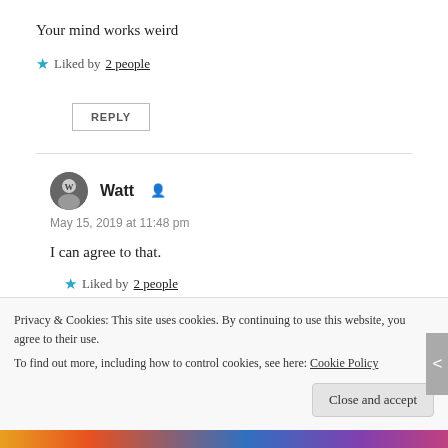Your mind works weird
★ Liked by 2 people
REPLY
Watt
May 15, 2019 at 11:48 pm
I can agree to that.
★ Liked by 2 people
Privacy & Cookies: This site uses cookies. By continuing to use this website, you agree to their use.
To find out more, including how to control cookies, see here: Cookie Policy
Close and accept